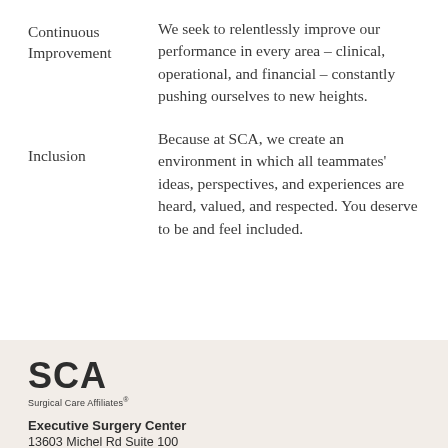Continuous Improvement — We seek to relentlessly improve our performance in every area – clinical, operational, and financial – constantly  pushing ourselves to new heights.
Inclusion — Because at SCA, we create an environment in which all teammates' ideas, perspectives, and experiences are heard, valued, and respected. You deserve to be and feel included.
[Figure (logo): SCA - Surgical Care Affiliates logo]
Executive Surgery Center
13603 Michel Rd Suite 100
Tomball, TX 77375
Get Directions